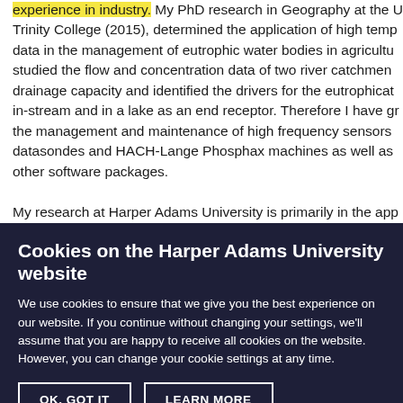experience in industry. My PhD research in Geography at the University of Trinity College (2015), determined the application of high temperature data in the management of eutrophic water bodies in agriculture. I studied the flow and concentration data of two river catchments with drainage capacity and identified the drivers for the eutrophication in-stream and in a lake as an end receptor. Therefore I have great understanding the management and maintenance of high frequency sensors including datasondes and HACH-Lange Phosphax machines as well as R and other software packages.

My research at Harper Adams University is primarily in the application of amendments to soils and the impact on soil structure and water...
Cookies on the Harper Adams University website
We use cookies to ensure that we give you the best experience on our website. If you continue without changing your settings, we'll assume that you are happy to receive all cookies on the website. However, you can change your cookie settings at any time.